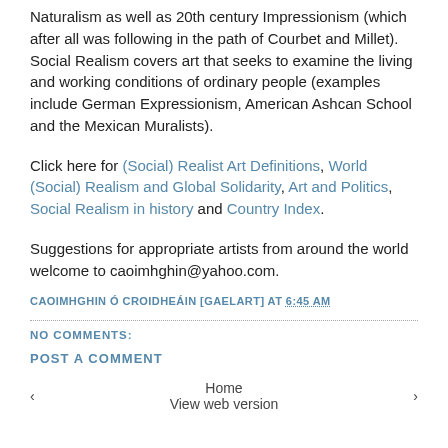Naturalism as well as 20th century Impressionism (which after all was following in the path of Courbet and Millet). Social Realism covers art that seeks to examine the living and working conditions of ordinary people (examples include German Expressionism, American Ashcan School and the Mexican Muralists).
Click here for (Social) Realist Art Definitions, World (Social) Realism and Global Solidarity, Art and Politics, Social Realism in history and Country Index.
Suggestions for appropriate artists from around the world welcome to caoimhghin@yahoo.com.
CAOIMHGHIN Ó CROIDHEÁIN [GAELART] AT 6:45 AM
NO COMMENTS:
POST A COMMENT
‹   Home   View web version   ›